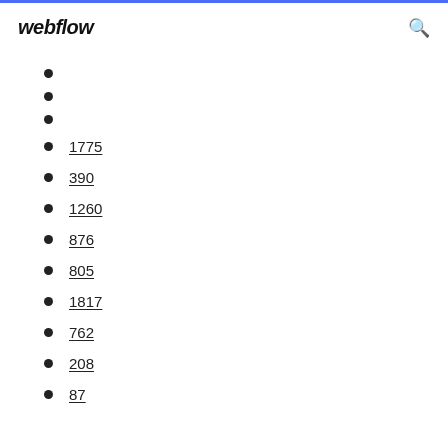webflow
1775
390
1260
876
805
1817
762
208
87